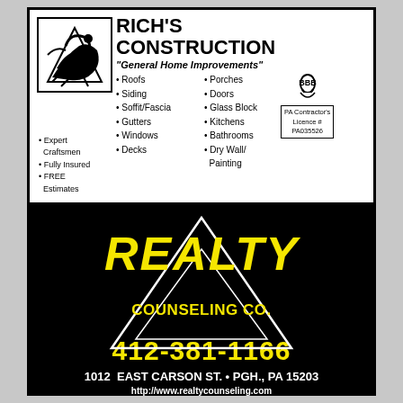[Figure (logo): Rich's Construction logo with abstract eagle/construction figure]
RICH'S CONSTRUCTION
"General Home Improvements"
Roofs
Siding
Soffit/Fascia
Gutters
Windows
Decks
Porches
Doors
Glass Block
Kitchens
Bathrooms
Dry Wall/Painting
Expert Craftsmen
Fully Insured
FREE Estimates
PA Contractor's Licence # PA035526
RICHARD LESIKIEWICZ, JR.  412-481-2334
[Figure (logo): Realty Counseling Co. advertisement with yellow triangle logo on black background]
REALTY COUNSELING CO.
412-381-1166
1012 EAST CARSON ST. • PGH., PA 15203
http://www.realtycounseling.com